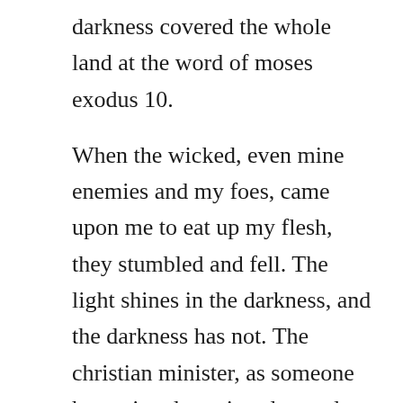darkness covered the whole land at the word of moses exodus 10.
When the wicked, even mine enemies and my foes, came upon me to eat up my flesh, they stumbled and fell. The light shines in the darkness, and the darkness has not. The christian minister, as someone has pointed out, is a descendant not of the greek orator but of the hebrew prophet. Blessed is the one who perseveres under trial because, having stood the test, that person will receive the crown of life that the lord has promised to those who